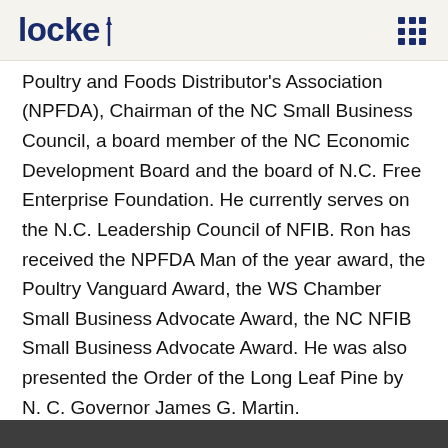locket
Poultry and Foods Distributor's Association (NPFDA), Chairman of the NC Small Business Council, a board member of the NC Economic Development Board and the board of N.C. Free Enterprise Foundation.  He currently serves on the N.C. Leadership Council of NFIB. Ron has received the NPFDA Man of the year award, the Poultry Vanguard Award, the WS Chamber Small Business Advocate Award, the NC NFIB Small Business Advocate Award. He was also presented the Order of the Long Leaf Pine by N. C. Governor James G. Martin.